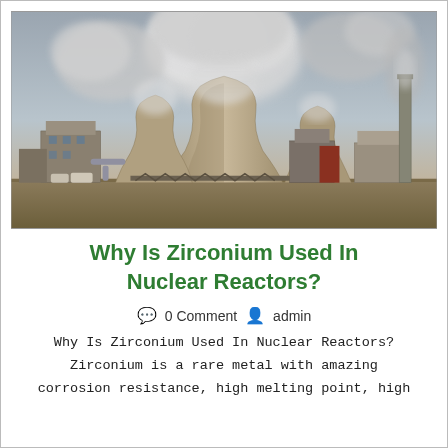[Figure (photo): Industrial nuclear power plant with large cooling towers emitting white steam clouds against an overcast sky, with various plant buildings and a tall smokestack visible.]
Why Is Zirconium Used In Nuclear Reactors?
0 Comment   admin
Why Is Zirconium Used In Nuclear Reactors? Zirconium is a rare metal with amazing corrosion resistance, high melting point, high